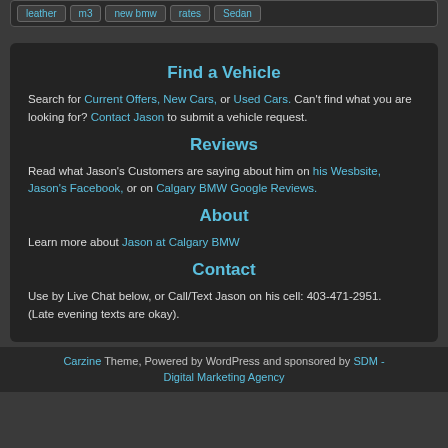leather | m3 | new bmw | rates | Sedan
Find a Vehicle
Search for Current Offers, New Cars, or Used Cars. Can't find what you are looking for? Contact Jason to submit a vehicle request.
Reviews
Read what Jason's Customers are saying about him on his Wesbsite, Jason's Facebook, or on Calgary BMW Google Reviews.
About
Learn more about Jason at Calgary BMW
Contact
Use by Live Chat below, or Call/Text Jason on his cell: 403-471-2951. (Late evening texts are okay).
Carzine Theme, Powered by WordPress and sponsored by SDM - Digital Marketing Agency